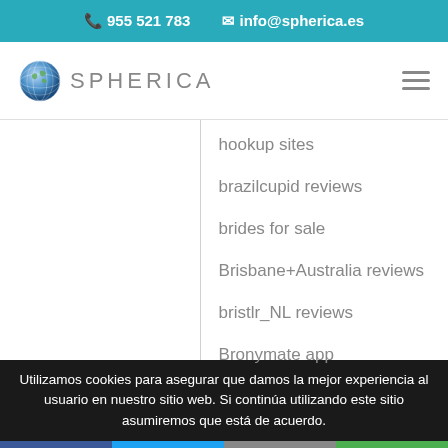📞 955 521 783   ✉ info@spherica.es
[Figure (logo): Spherica logo with globe icon and text SPHERICA]
hookup sites
brazilcupid reviews
brides for sale
Brisbane+Australia reviews
bristlr_NL reviews
Bronymate app
Utilizamos cookies para asegurar que damos la mejor experiencia al usuario en nuestro sitio web. Si continúa utilizando este sitio asumiremos que está de acuerdo.